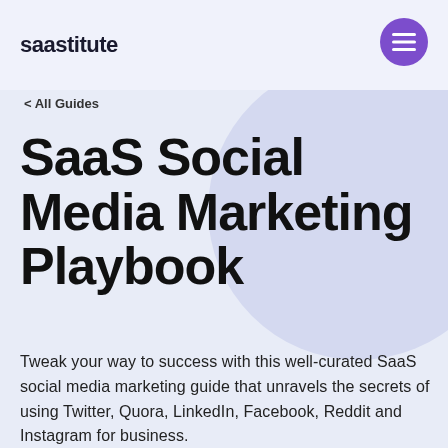saastitute
< All Guides
SaaS Social Media Marketing Playbook
Tweak your way to success with this well-curated SaaS social media marketing guide that unravels the secrets of using Twitter, Quora, LinkedIn, Facebook, Reddit and Instagram for business.